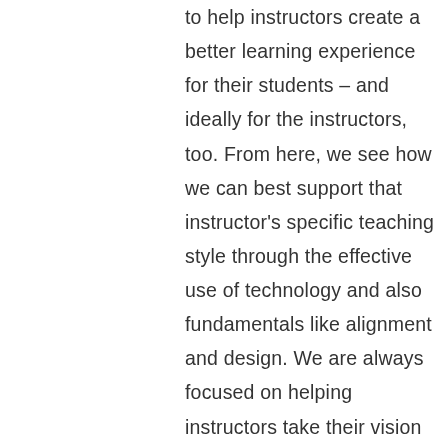to help instructors create a better learning experience for their students – and ideally for the instructors, too. From here, we see how we can best support that instructor's specific teaching style through the effective use of technology and also fundamentals like alignment and design. We are always focused on helping instructors take their vision and values and anchor them in